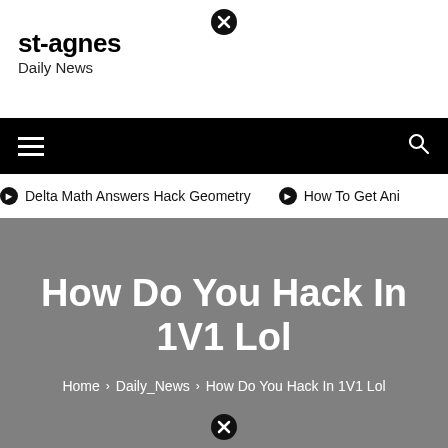[Figure (other): Close/X button circle icon at top center]
st-agnes
Daily News
[Figure (other): Black navigation bar with hamburger menu icon on left and search icon on right]
⊙ Delta Math Answers Hack Geometry   ⊙ How To Get Ani
How Do You Hack In 1V1 Lol
Home > Daily_News > How Do You Hack In 1V1 Lol
[Figure (other): Close/X button circle icon at bottom center]